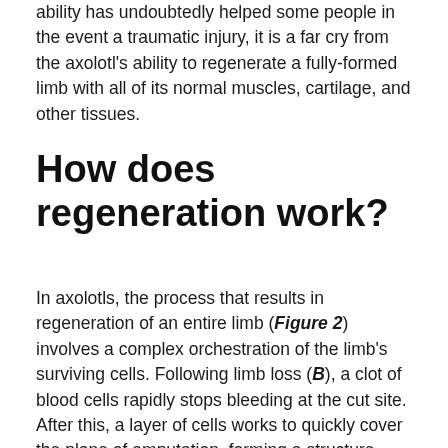ability has undoubtedly helped some people in the event a traumatic injury, it is a far cry from the axolotl's ability to regenerate a fully-formed limb with all of its normal muscles, cartilage, and other tissues.
How does regeneration work?
In axolotls, the process that results in regeneration of an entire limb (Figure 2) involves a complex orchestration of the limb's surviving cells. Following limb loss (B), a clot of blood cells rapidly stops bleeding at the cut site. After this, a layer of cells works to quickly cover the plane of amputation, forming a structure called a wound epidermis (C). During the next few days, the cells of the wound epidermis grow and divide rapidly. Shortly thereafter, the cells underneath the epidermis also begin to rapidly divide,